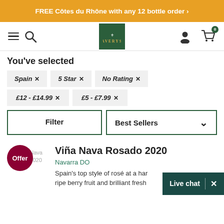FREE Côtes du Rhône with any 12 bottle order ›
[Figure (logo): Averys wine merchant logo - green square with heraldic crest and AVERYS text]
You've selected
Spain ✕
5 Star ✕
No Rating ✕
£12 - £14.99 ✕
£5 - £7.99 ✕
Filter
Best Sellers ∨
[Figure (other): Offer badge (dark red circle) overlapping product image thumbnail with text 'Offer' and partial product label 'ña Nava do 2020']
Viña Nava Rosado 2020
Navarra DO
Spain's top style of rosé at a har ripe berry fruit and brilliant fresh